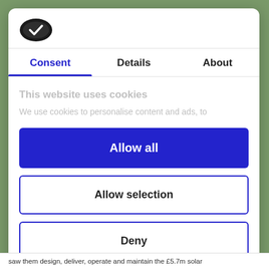[Figure (logo): Cookiebot logo: dark oval shape with white checkmark icon inside]
Consent	Details	About
This website uses cookies
We use cookies to personalise content and ads, to
Allow all
Allow selection
Deny
Powered by Cookiebot by Usercentrics
saw them design, deliver, operate and maintain the £5.7m solar